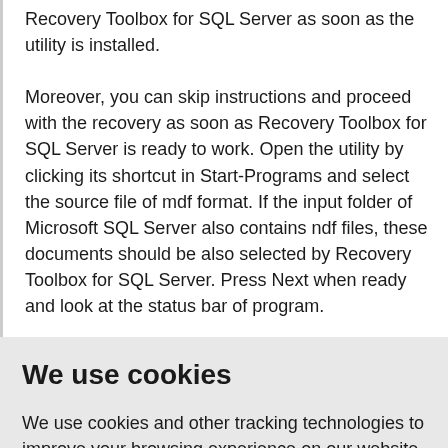Recovery Toolbox for SQL Server as soon as the utility is installed.

Moreover, you can skip instructions and proceed with the recovery as soon as Recovery Toolbox for SQL Server is ready to work. Open the utility by clicking its shortcut in Start-Programs and select the source file of mdf format. If the input folder of Microsoft SQL Server also contains ndf files, these documents should be also selected by Recovery Toolbox for SQL Server. Press Next when ready and look at the status bar of program.
We use cookies
We use cookies and other tracking technologies to improve your browsing experience on our website, to show you personalized content and targeted ads, to analyze our website traffic, and to understand where our visitors are coming from.